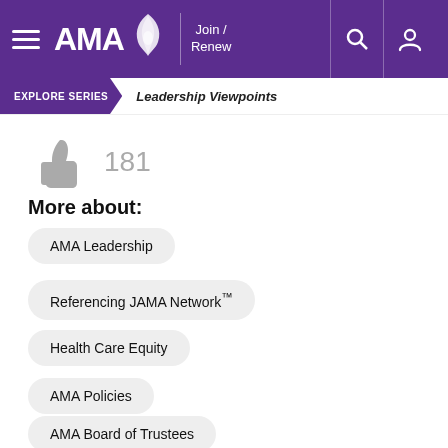AMA — Join / Renew
EXPLORE SERIES | Leadership Viewpoints
[Figure (illustration): Thumbs up icon (like button) in gray, followed by the count 181]
More about:
AMA Leadership
Referencing JAMA Network™
Health Care Equity
AMA Policies
AMA Board of Trustees